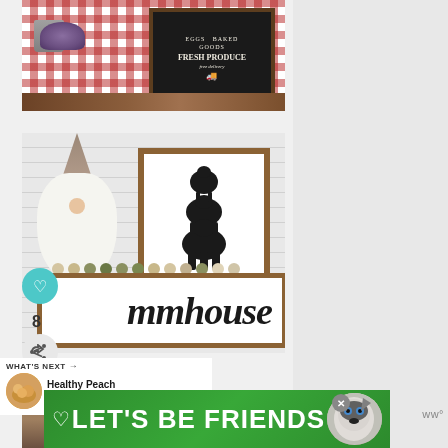[Figure (photo): Farmhouse decor photo showing a chalkboard sign reading 'Fresh Produce, Baked Goods, Free Delivery' with lavender plant in galvanized bucket on red plaid tablecloth on wooden table]
[Figure (photo): Farmhouse decor set showing a gnome figurine with white beard next to framed animal silhouette sign (stacked chicken, pig, cow) and a 'farmhouse' script sign, with felt bead garland]
8
WHAT'S NEXT → Healthy Peach Cobbler...
[Figure (photo): Bottom partial photo showing wooden/barn surface]
[Figure (photo): Green advertisement banner reading LET'S BE FRIENDS with husky dog photo]